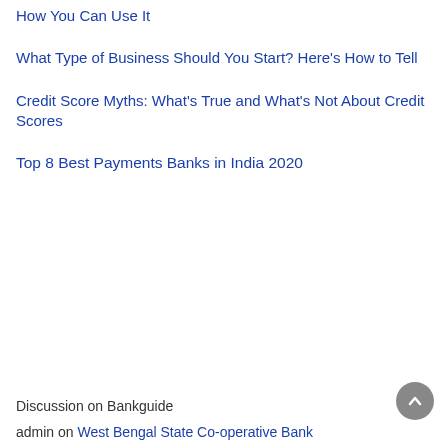How You Can Use It
What Type of Business Should You Start? Here's How to Tell
Credit Score Myths: What's True and What's Not About Credit Scores
Top 8 Best Payments Banks in India 2020
Discussion on Bankguide
admin on West Bengal State Co-operative Bank